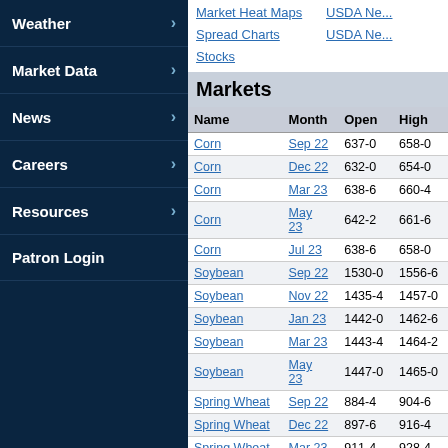Weather
Market Data
News
Careers
Resources
Patron Login
Market Heat Maps   USDA Ne...
Spread Charts   USDA Ne...
Stocks
Markets
| Name | Month | Open | High |
| --- | --- | --- | --- |
| Corn | Sep 22 | 637-0 | 658-0 |
| Corn | Dec 22 | 632-0 | 654-0 |
| Corn | Mar 23 | 638-6 | 660-4 |
| Corn | May 23 | 642-2 | 661-6 |
| Corn | Jul 23 | 638-6 | 658-0 |
| Soybean | Sep 22 | 1530-0 | 1556-6 |
| Soybean | Nov 22 | 1435-4 | 1457-0 |
| Soybean | Jan 23 | 1442-0 | 1462-6 |
| Soybean | Mar 23 | 1443-4 | 1464-2 |
| Soybean | May 23 | 1447-0 | 1465-0 |
| Spring Wheat | Sep 22 | 884-4 | 904-6 |
| Spring Wheat | Dec 22 | 897-6 | 916-4 |
| Spring Wheat | Mar 23 | 911-4 | 928-4 |